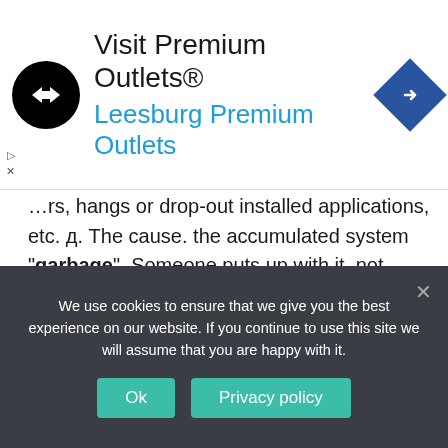[Figure (other): Advertisement banner: circular black logo with double-ended arrow symbol, text 'Visit Premium Outlets®' and 'Leesburg Premium Outlets' in blue, blue diamond navigation icon on right]
...rs, hangs or drop-out installed applications, etc. д. The cause. the accumulated system "garbage". Someone puts up with it, not knowing that there are several ways to solve the problem. If you own a Samsung smartphone or other gadget with the Android system, then the best solution. a call to the service phones Samsung. Save time and be sure that your device is safe. But how to clear the memory of the
We use cookies to ensure that we give you the best experience on our website. If you continue to use this site we will assume that you are happy with it.